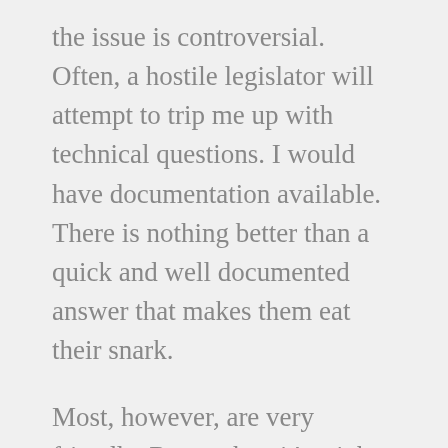the issue is controversial. Often, a hostile legislator will attempt to trip me up with technical questions. I would have documentation available. There is nothing better than a quick and well documented answer that makes them eat their snark.
Most, however, are very friendly. Remember, it's a job to them, so they will be way more interested in you than some paid lobbyist they see all the time, who are just paid to say whatever the client asks.